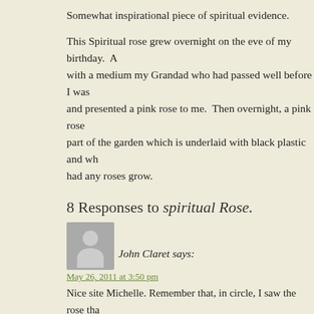Somewhat inspirational piece of spiritual evidence.
This Spiritual rose grew overnight on the eve of my birthday. A with a medium my Grandad who had passed well before I was and presented a pink rose to me.  Then overnight, a pink rose part of the garden which is underlaid with black plastic and wh had any roses grow.
8 Responses to spiritual Rose.
[Figure (illustration): Grey avatar icon of a person]
John Claret says:
May 26, 2011 at 3:50 pm
Nice site Michelle. Remember that, in circle, I saw the rose tha about above your mother's head on the curtain when I was try
See you again soon.
Love to you and Zoe.
John C.
Reply
[Figure (illustration): Grey avatar icon of a person]
michelle says: